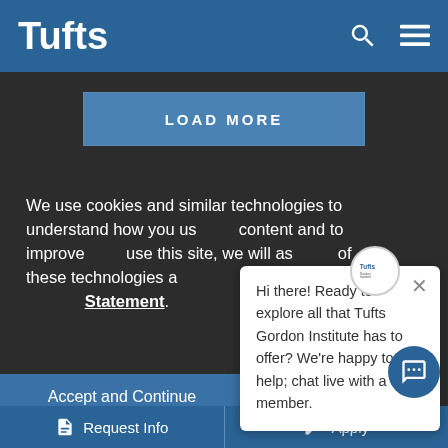Tufts
[Figure (screenshot): LOAD MORE button on dark background]
We use cookies and similar technologies to understand how you use our content and to improve your experience. If you use this site, we will assume you consent to the use of these technologies as described in our Privacy Statement.
[Figure (screenshot): Chat popup from Tufts Gordon Institute: Hi there! Ready to explore all that Tufts Gordon Institute has to offer? We're happy to help; chat live with a team member.]
Accept and Continue
Request Info   Apply